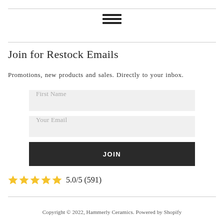[Figure (other): Hamburger menu icon with three horizontal lines]
Join for Restock Emails
Promotions, new products and sales. Directly to your inbox.
First Name (input field)
Your Email (input field)
JOIN (button)
5.0/5 (591)
Copyright © 2022, Hammerly Ceramics. Powered by Shopify